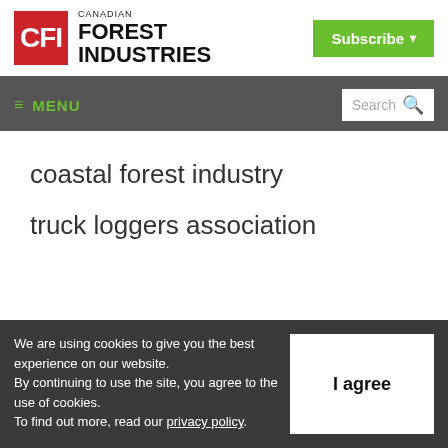[Figure (logo): Canadian Forest Industries logo with red CFI box and black bold text]
Subscribe ▾
≡ MENU   Search 🔍
coastal forest industry
truck loggers association
We are using cookies to give you the best experience on our website. By continuing to use the site, you agree to the use of cookies. To find out more, read our privacy policy.